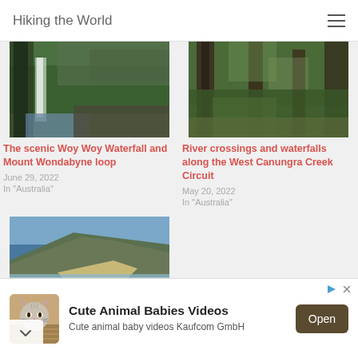Hiking the World
[Figure (photo): Waterfall in lush green forest - Woy Woy Waterfall area]
The scenic Woy Woy Waterfall and Mount Wondabyne loop
June 29, 2022
In "Australia"
[Figure (photo): Dense green rainforest with large tree trunks - West Canungra Creek Circuit]
River crossings and waterfalls along the West Canungra Creek Circuit
May 20, 2022
In "Australia"
[Figure (photo): Coastal cliffs and ocean view with sandy beach]
[Figure (screenshot): Advertisement banner: Cute Animal Babies Videos - Cute animal baby videos Kaufcom GmbH with Open button]